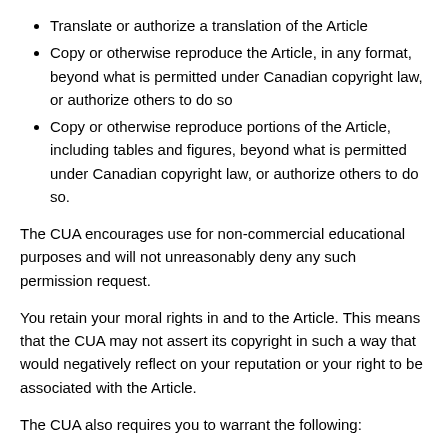Translate or authorize a translation of the Article
Copy or otherwise reproduce the Article, in any format, beyond what is permitted under Canadian copyright law, or authorize others to do so
Copy or otherwise reproduce portions of the Article, including tables and figures, beyond what is permitted under Canadian copyright law, or authorize others to do so.
The CUA encourages use for non-commercial educational purposes and will not unreasonably deny any such permission request.
You retain your moral rights in and to the Article. This means that the CUA may not assert its copyright in such a way that would negatively reflect on your reputation or your right to be associated with the Article.
The CUA also requires you to warrant the following:
That you are the Author(s) and sole owner(s), that the Article is original and unpublished and that you have not previously assigned copyright or granted a licence to any other third party;
That all individuals who have made a substantive contribution